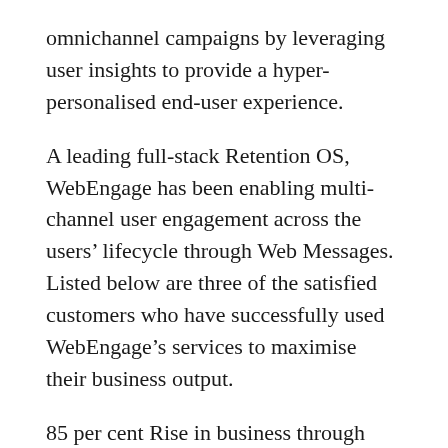omnichannel campaigns by leveraging user insights to provide a hyper-personalised end-user experience.
A leading full-stack Retention OS, WebEngage has been enabling multi-channel user engagement across the users’ lifecycle through Web Messages. Listed below are three of the satisfied customers who have successfully used WebEngage’s services to maximise their business output.
85 per cent Rise in business through Funnel Analysis
Like most e-commerce businesses, Clovia, one of India’s leading lingerie brands was facing the issue of cart abandonment. In this particular